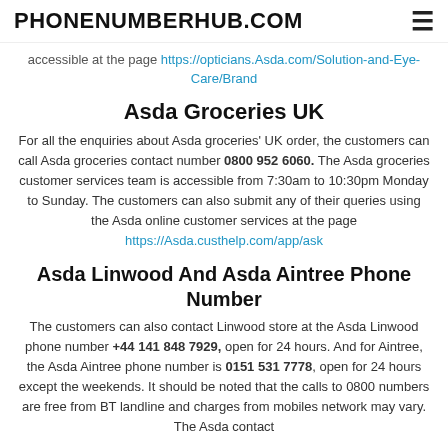PHONENUMBERHUB.COM
accessible at the page https://opticians.Asda.com/Solution-and-Eye-Care/Brand
Asda Groceries UK
For all the enquiries about Asda groceries' UK order, the customers can call Asda groceries contact number 0800 952 6060. The Asda groceries customer services team is accessible from 7:30am to 10:30pm Monday to Sunday. The customers can also submit any of their queries using the Asda online customer services at the page https://Asda.custhelp.com/app/ask
Asda Linwood And Asda Aintree Phone Number
The customers can also contact Linwood store at the Asda Linwood phone number +44 141 848 7929, open for 24 hours. And for Aintree, the Asda Aintree phone number is 0151 531 7778, open for 24 hours except the weekends. It should be noted that the calls to 0800 numbers are free from BT landline and charges from mobiles network may vary. The Asda contact